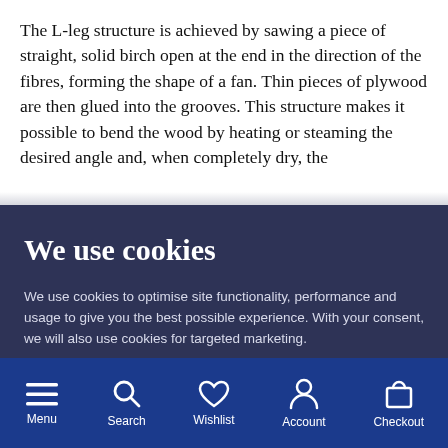The L-leg structure is achieved by sawing a piece of straight, solid birch open at the end in the direction of the fibres, forming the shape of a fan. Thin pieces of plywood are then glued into the grooves. This structure makes it possible to bend the wood by heating or steaming the desired angle and, when completely dry, the
We use cookies
We use cookies to optimise site functionality, performance and usage to give you the best possible experience. With your consent, we will also use cookies for targeted marketing.
We use three types of cookies. You can change their usage in the preferences.
Functional cookies
Statistical
Advertising
Accept
More information
Menu  Search  Wishlist  Account  Checkout